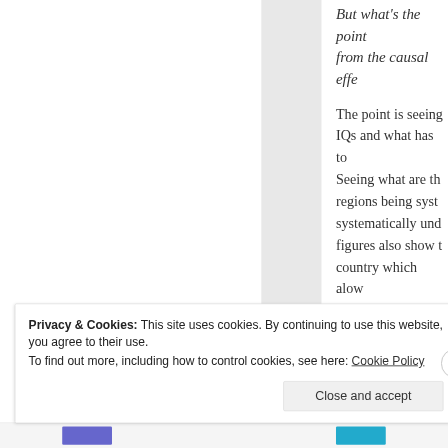But what's the point... from the causal effe...
The point is seeing... IQs and what has to... Seeing what are th... regions being syst... systematically und... figures also show t... country which alow... effect is or is supp... figures correlate b... variables that have... and they actually y...
Privacy & Cookies: This site uses cookies. By continuing to use this website, you agree to their use. To find out more, including how to control cookies, see here: Cookie Policy
Close and accept